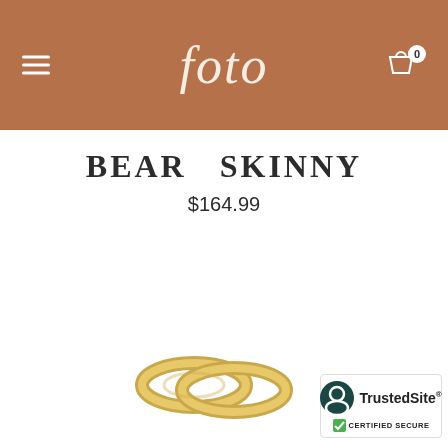foto
BEAR SKINNY
$164.99
[Figure (photo): Two gold wedding/stacking rings interlinked on white background]
[Figure (logo): TrustedSite Certified Secure badge with dark teal circle icon and green checkmark]